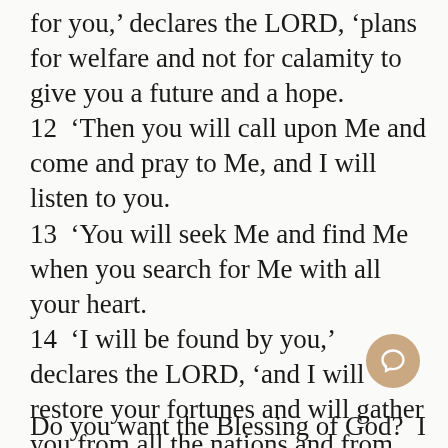for you,' declares the LORD, 'plans for welfare and not for calamity to give you a future and a hope. 12  'Then you will call upon Me and come and pray to Me, and I will listen to you. 13  'You will seek Me and find Me when you search for Me with all your heart. 14  'I will be found by you,' declares the LORD, 'and I will restore your fortunes and will gather you from all the nations and from all the places where I have driven you,' declares the LORD, 'and I will bring you back to the place from where I sent you into exile.'
Do you want the Blessing of God?  I